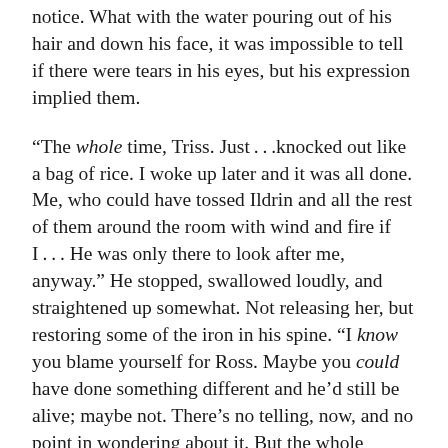notice. What with the water pouring out of his hair and down his face, it was impossible to tell if there were tears in his eyes, but his expression implied them.
“The whole time, Triss. Just…knocked out like a bag of rice. I woke up later and it was all done. Me, who could have tossed Ildrin and all the rest of them around the room with wind and fire if I… He was only there to look after me, anyway.” He stopped, swallowed loudly, and straightened up somewhat. Not releasing her, but restoring some of the iron in his spine. “I know you blame yourself for Ross. Maybe you could have done something different and he’d still be alive; maybe not. There’s no telling, now, and no point in wondering about it. But the whole situation only existed because of me.”
Before she consciously decided to do anything, she was hugging him. It was only another surprised moment before he wrapped his thin arms around her in kind. They were